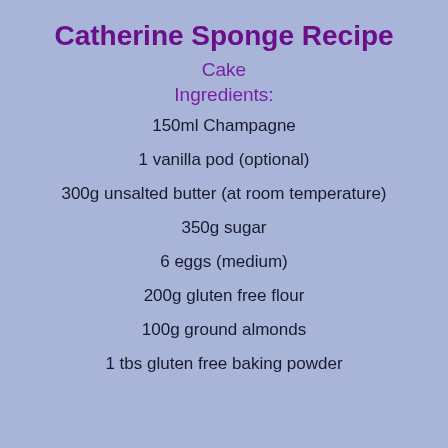Catherine Sponge Recipe
Cake
Ingredients:
150ml Champagne
1 vanilla pod (optional)
300g unsalted butter (at room temperature)
350g sugar
6 eggs (medium)
200g gluten free flour
100g ground almonds
1 tbs gluten free baking powder